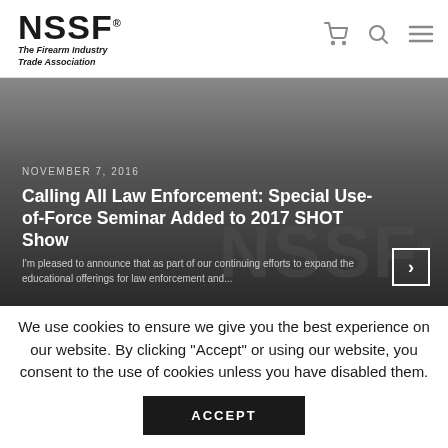[Figure (logo): NSSF logo with tagline 'The Firearm Industry Trade Association']
NSSF The Firearm Industry Trade Association — navigation icons: cart, search, menu
[Figure (photo): Dark hero image with NSSF watermark background, date NOVEMBER 7, 2016, article title, and excerpt text with navigation arrow]
We use cookies to ensure we give you the best experience on our website. By clicking "Accept" or using our website, you consent to the use of cookies unless you have disabled them.
ACCEPT